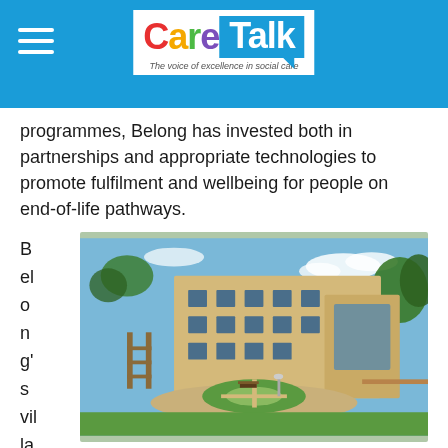Care Talk – The voice of excellence in social care
programmes, Belong has invested both in partnerships and appropriate technologies to promote fulfilment and wellbeing for people on end-of-life pathways.
[Figure (photo): Exterior view of a modern care village building with a circular garden courtyard, surrounded by well-maintained lawns and pathways. The building is multi-storey with large windows, constructed in light brick. Trees and blue sky visible in the background.]
Belong's village model, in particular, offers the advantage of continuity of care as people's needs change and a